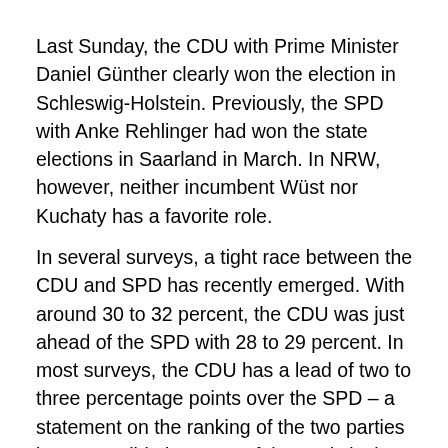Last Sunday, the CDU with Prime Minister Daniel Günther clearly won the election in Schleswig-Holstein. Previously, the SPD with Anke Rehlinger had won the state elections in Saarland in March. In NRW, however, neither incumbent Wüst nor Kuchaty has a favorite role.
In several surveys, a tight race between the CDU and SPD has recently emerged. With around 30 to 32 percent, the CDU was just ahead of the SPD with 28 to 29 percent. In most surveys, the CDU has a lead of two to three percentage points over the SPD – a statement on the ranking of the two parties is not possible because of the statistical error rate. In addition, according to polls, many voters were still undecided about whom to vote for.
However, the CDU/FDP coalition that has been in office in NRW for five years is unlikely to have a majority. The Greens